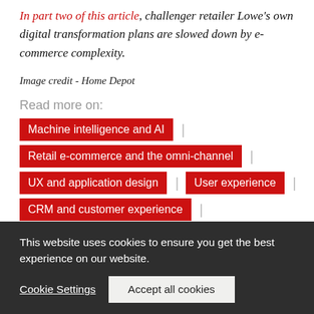In part two of this article, challenger retailer Lowe's own digital transformation plans are slowed down by e-commerce complexity.
Image credit - Home Depot
Read more on:
Machine intelligence and AI
Retail e-commerce and the omni-channel
UX and application design | User experience
CRM and customer experience
This website uses cookies to ensure you get the best experience on our website.
Cookie Settings | Accept all cookies